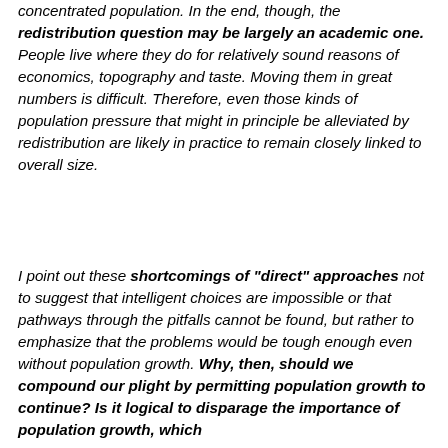concentrated population. In the end, though, the redistribution question may be largely an academic one. People live where they do for relatively sound reasons of economics, topography and taste. Moving them in great numbers is difficult. Therefore, even those kinds of population pressure that might in principle be alleviated by redistribution are likely in practice to remain closely linked to overall size.
I point out these shortcomings of "direct" approaches not to suggest that intelligent choices are impossible or that pathways through the pitfalls cannot be found, but rather to emphasize that the problems would be tough enough even without population growth. Why, then, should we compound our plight by permitting population growth to continue? Is it logical to disparage the importance of population growth, which